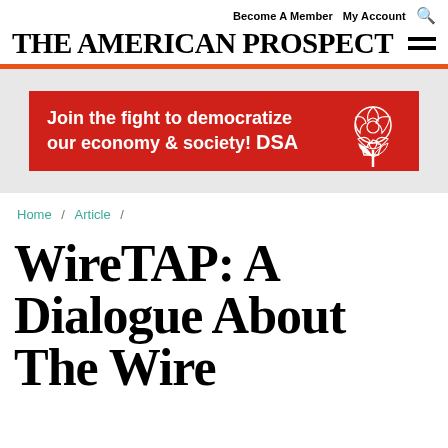THE AMERICAN PROSPECT | Become A Member  My Account
[Figure (illustration): DSA advertisement banner: red background with white text 'Join the fight to democratize our economy & society! DSA' and a rose logo illustration]
Home / Article /
WireTAP: A Dialogue About The Wire